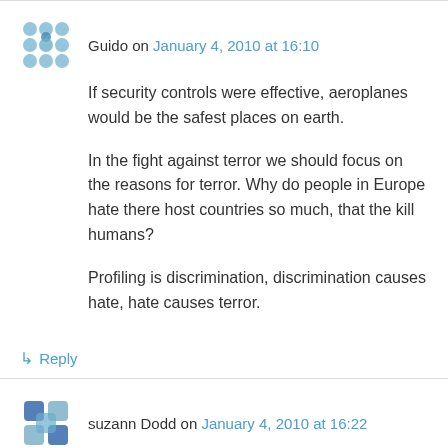Guido on January 4, 2010 at 16:10
If security controls were effective, aeroplanes would be the safest places on earth.
In the fight against terror we should focus on the reasons for terror. Why do people in Europe hate there host countries so much, that the kill humans?
Profiling is discrimination, discrimination causes hate, hate causes terror.
↳ Reply
suzann Dodd on January 4, 2010 at 16:22